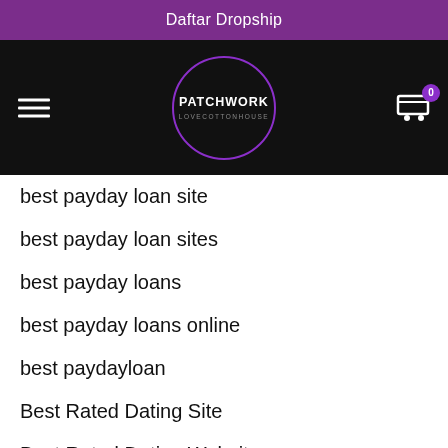Daftar Dropship
[Figure (logo): Patchwork Lovecottonhouse logo in a circle on a black navigation bar with hamburger menu and cart icon]
best payday loan site
best payday loan sites
best payday loans
best payday loans online
best paydayloan
Best Rated Dating Site
Best Rated Dating Websites
Best Rated Online Dating Sites